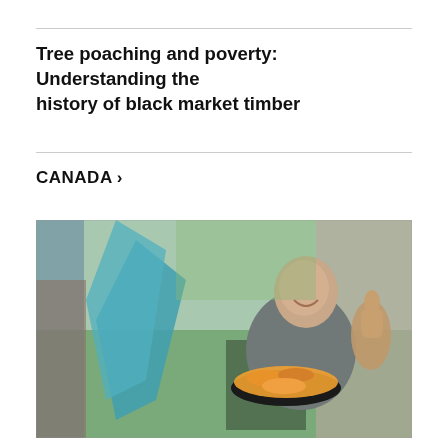Tree poaching and poverty: Understanding the history of black market timber
CANADA >
[Figure (photo): A bald man sitting outdoors in a folding chair giving a thumbs up, with a bowl of food in front of him and a green lawn in the background. The image appears to be a collage of two overlapping photos.]